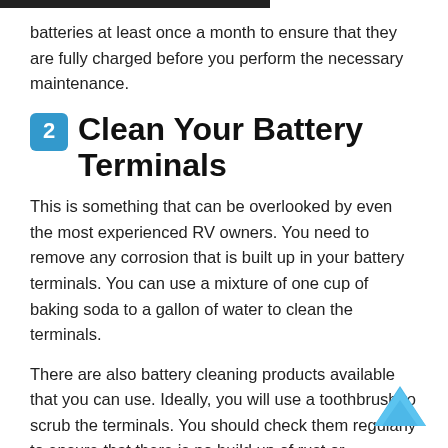batteries at least once a month to ensure that they are fully charged before you perform the necessary maintenance.
2 Clean Your Battery Terminals
This is something that can be overlooked by even the most experienced RV owners. You need to remove any corrosion that is built up in your battery terminals. You can use a mixture of one cup of baking soda to a gallon of water to clean the terminals.
There are also battery cleaning products available that you can use. Ideally, you will use a toothbrush to scrub the terminals. You should check them regularly to ensure that there is no build up of rust or corrosion. As soon as you notice something is discolored, take the time to clean it up.